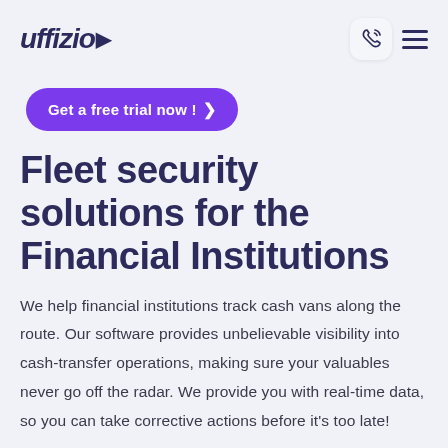uffizio
Get a free trial now ! ›
Fleet security solutions for the Financial Institutions
We help financial institutions track cash vans along the route. Our software provides unbelievable visibility into cash-transfer operations, making sure your valuables never go off the radar. We provide you with real-time data, so you can take corrective actions before it's too late!